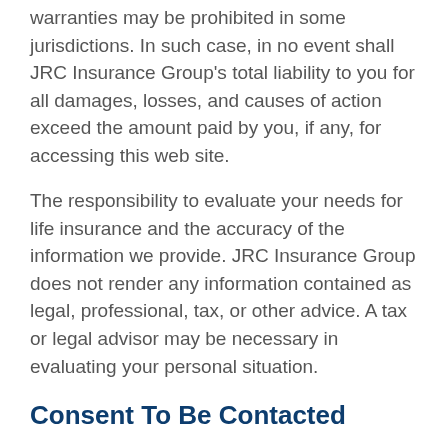warranties may be prohibited in some jurisdictions. In such case, in no event shall JRC Insurance Group's total liability to you for all damages, losses, and causes of action exceed the amount paid by you, if any, for accessing this web site.
The responsibility to evaluate your needs for life insurance and the accuracy of the information we provide. JRC Insurance Group does not render any information contained as legal, professional, tax, or other advice. A tax or legal advisor may be necessary in evaluating your personal situation.
Consent To Be Contacted
You agree that by providing your personal information, you are making a consumer inquiry for insurance offered by licensed insurance agents. You agree by doing so that you consent and